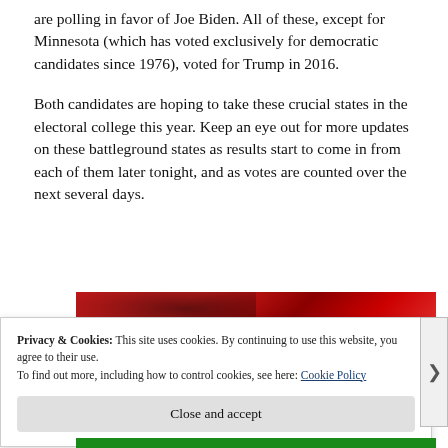are polling in favor of Joe Biden. All of these, except for Minnesota (which has voted exclusively for democratic candidates since 1976), voted for Trump in 2016.
Both candidates are hoping to take these crucial states in the electoral college this year. Keep an eye out for more updates on these battleground states as results start to come in from each of them later tonight, and as votes are counted over the next several days.
[Figure (photo): Partial view of a red-colored image, likely a photo related to the election article, partially obscured by the cookie banner.]
Privacy & Cookies: This site uses cookies. By continuing to use this website, you agree to their use.
To find out more, including how to control cookies, see here: Cookie Policy
Close and accept